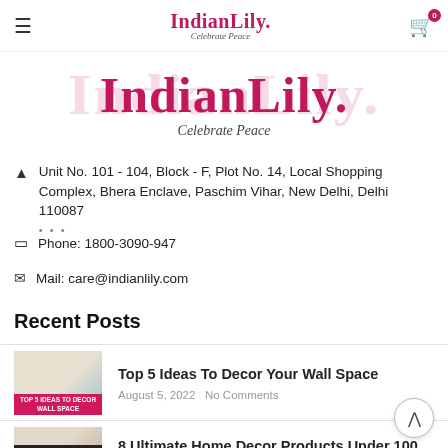IndianLily. Celebrate Peace — navigation bar with hamburger menu and cart icon (0 items)
[Figure (logo): IndianLily. logo with large red text and italic tagline 'Celebrate Peace']
Unit No. 101 - 104, Block - F, Plot No. 14, Local Shopping Complex, Bhera Enclave, Paschim Vihar, New Delhi, Delhi 110087
Phone: 1800-3090-947
Mail: care@indianlily.com
Recent Posts
Top 5 Ideas To Decor Your Wall Space
August 5, 2022  No Comments
8 Ultimate Home Decor Products Under 100